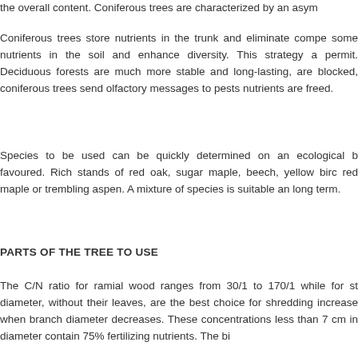the overall content. Coniferous trees are characterized by an asym
Coniferous trees store nutrients in the trunk and eliminate compe some nutrients in the soil and enhance diversity. This strategy a permit. Deciduous forests are much more stable and long-lasting, are blocked, coniferous trees send olfactory messages to pests nutrients are freed.
Species to be used can be quickly determined on an ecological b favoured. Rich stands of red oak, sugar maple, beech, yellow birc red maple or trembling aspen. A mixture of species is suitable an long term.
PARTS OF THE TREE TO USE
The C/N ratio for ramial wood ranges from 30/1 to 170/1 while for st diameter, without their leaves, are the best choice for shredding increase when branch diameter decreases. These concentrations less than 7 cm in diameter contain 75% fertilizing nutrients. The bi